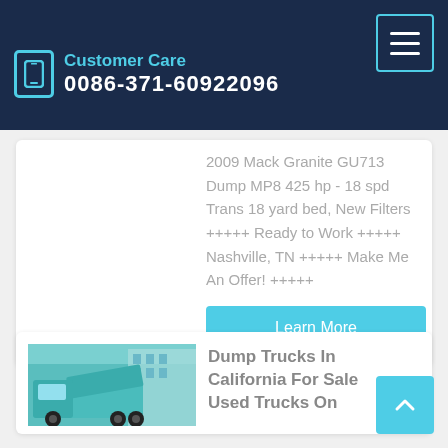Customer Care 0086-371-60922096
2009 Mack Granite GU713 Dump MP8 425 hp - 18 spd Trans 18 yard bed, New Filters +++++ Ready to Work +++++ Nashville, TN +++++ Make Me An Offer! +++++
Learn More
[Figure (photo): A teal/cyan dump truck parked in front of a building]
Dump Trucks In California For Sale Used Trucks On